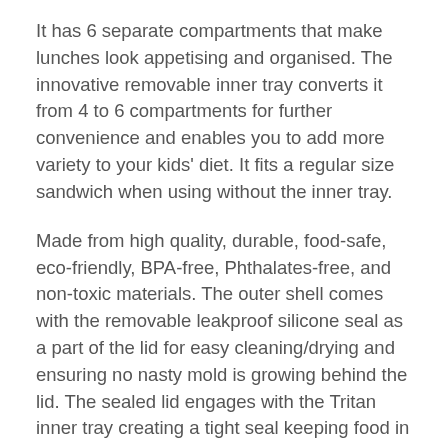It has 6 separate compartments that make lunches look appetising and organised. The innovative removable inner tray converts it from 4 to 6 compartments for further convenience and enables you to add more variety to your kids' diet. It fits a regular size sandwich when using without the inner tray.
Made from high quality, durable, food-safe, eco-friendly, BPA-free, Phthalates-free, and non-toxic materials. The outer shell comes with the removable leakproof silicone seal as a part of the lid for easy cleaning/drying and ensuring no nasty mold is growing behind the lid. The sealed lid engages with the Tritan inner tray creating a tight seal keeping food in place, including yoghurt and applesauce, and prevents leakage inside and out.
Pack a waste-free lunch with our bento lunchbox by